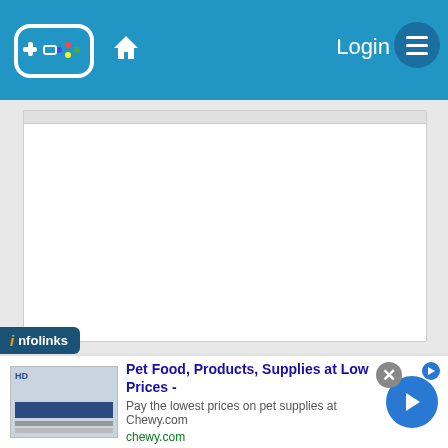Login
[Figure (screenshot): White content/form card area with gray top bar, shown in main content area]
Shoutbox
Laguna  24 Nov 2020 13:55
hi everyone , we update all links now , and we will open registration soon 😀
28 Apr 2020 01:29
[Figure (infographic): Advertisement banner: Pet Food, Products, Supplies at Low Prices - Pay the lowest prices on pet supplies at Chewy.com, chewy.com. With infolinks badge and close/next buttons.]